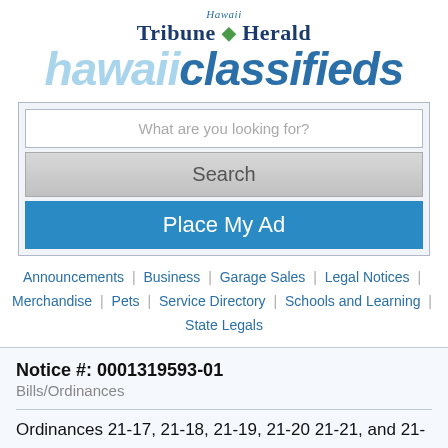[Figure (logo): Hawaii Tribune-Herald hawaiiclassifieds logo with Tribune-Herald in dark blue serif font and hawaiiclassifieds in large italic blue text]
What are you looking for?
Search
Place My Ad
Announcements | Business | Garage Sales | Legal Notices | Merchandise | Pets | Service Directory | Schools and Learning | State Legals
Notice #: 0001319593-01
Bills/Ordinances
Ordinances 21-17, 21-18, 21-19, 21-20 21-21, and 21-22 I hereby certify that the following bills passed second and final reading at the meeting of the